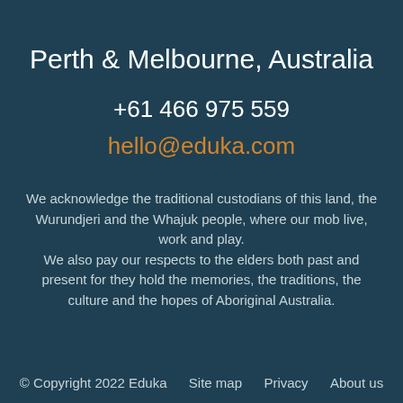Perth & Melbourne, Australia
+61 466 975 559
hello@eduka.com
We acknowledge the traditional custodians of this land, the Wurundjeri and the Whajuk people, where our mob live, work and play. We also pay our respects to the elders both past and present for they hold the memories, the traditions, the culture and the hopes of Aboriginal Australia.
© Copyright 2022 Eduka   Site map   Privacy   About us